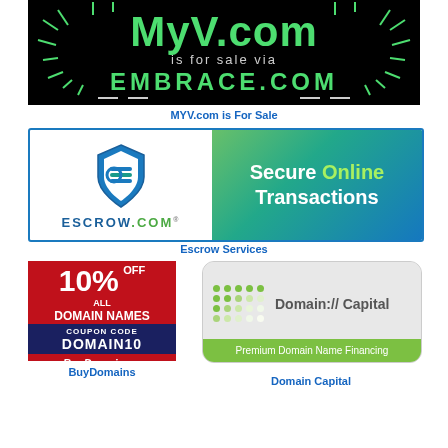[Figure (illustration): MyV.com is for sale via Embrace.com — dark background banner with green text and firework decorations]
MYV.com is For Sale
[Figure (logo): Escrow.com banner showing shield logo on left and 'Secure Online Transactions' text on green-blue gradient background]
Escrow Services
[Figure (illustration): BuyDomains ad: 10% off all domain names, coupon code DOMAIN10]
[Figure (logo): Domain Capital — Premium Domain Name Financing logo on grey/green background]
BuyDomains
Domain Capital